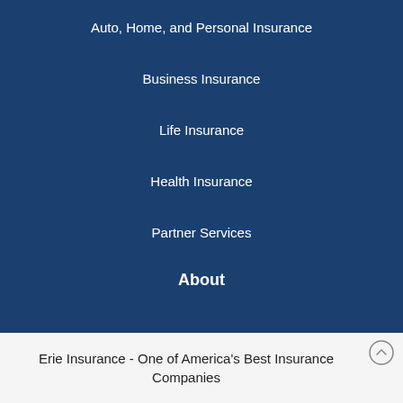Auto, Home, and Personal Insurance
Business Insurance
Life Insurance
Health Insurance
Partner Services
About
Erie Insurance - One of America's Best Insurance Companies